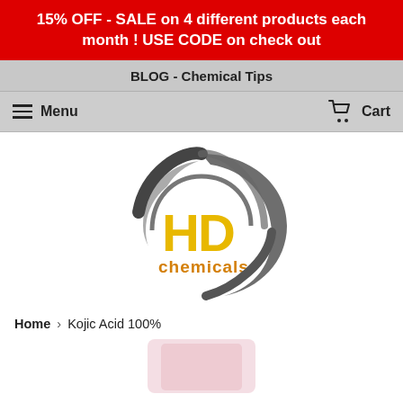15% OFF - SALE on 4 different products each month ! USE CODE on check out
BLOG - Chemical Tips
Menu   Cart
[Figure (logo): HD Chemicals logo: circular swoosh design in dark grey with bold yellow 'HD' letters and orange 'chemicals' text below]
Home › Kojic Acid 100%
[Figure (photo): Partial view of a product image at the bottom of the page]